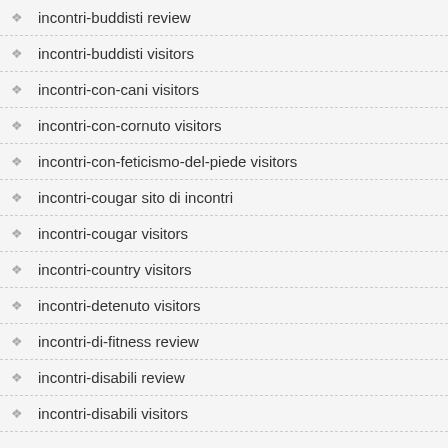incontri-buddisti review
incontri-buddisti visitors
incontri-con-cani visitors
incontri-con-cornuto visitors
incontri-con-feticismo-del-piede visitors
incontri-cougar sito di incontri
incontri-cougar visitors
incontri-country visitors
incontri-detenuto visitors
incontri-di-fitness review
incontri-disabili review
incontri-disabili visitors